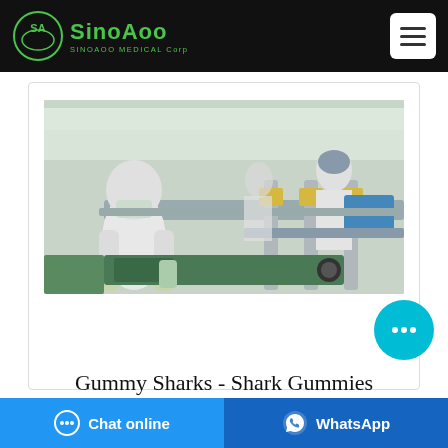SinoAoo Medical Corp
[Figure (photo): Workers in white protective suits and hairnets working on a manufacturing/production line in a clean-room facility]
Gummy Sharks - Shark Gummies
Chat online | WhatsApp